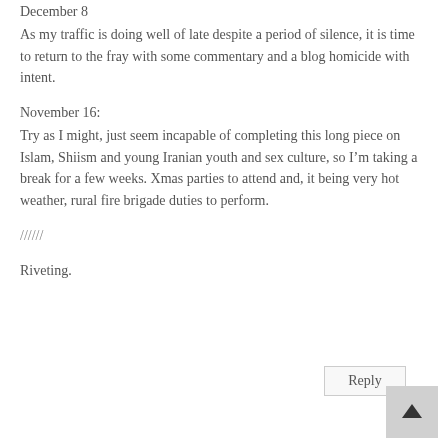December 8
As my traffic is doing well of late despite a period of silence, it is time to return to the fray with some commentary and a blog homicide with intent.
November 16:
Try as I might, just seem incapable of completing this long piece on Islam, Shiism and young Iranian youth and sex culture, so I'm taking a break for a few weeks. Xmas parties to attend and, it being very hot weather, rural fire brigade duties to perform.
//////
Riveting.